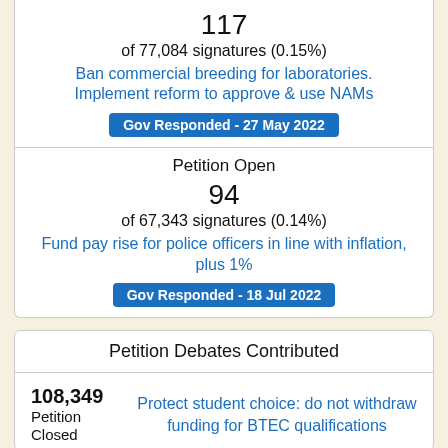117
of 77,084 signatures (0.15%)
Ban commercial breeding for laboratories. Implement reform to approve & use NAMs
Gov Responded - 27 May 2022
Petition Open
94
of 67,343 signatures (0.14%)
Fund pay rise for police officers in line with inflation, plus 1%
Gov Responded - 18 Jul 2022
Petition Debates Contributed
108,349
Petition Closed
Protect student choice: do not withdraw funding for BTEC qualifications